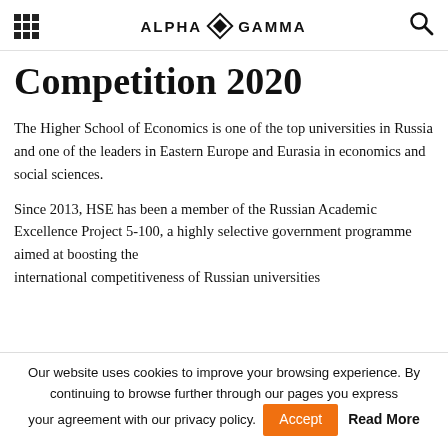Alpha Gamma
Competition 2020
The Higher School of Economics is one of the top universities in Russia and one of the leaders in Eastern Europe and Eurasia in economics and social sciences.
Since 2013, HSE has been a member of the Russian Academic Excellence Project 5-100, a highly selective government programme aimed at boosting the international competitiveness of Russian universities
Our website uses cookies to improve your browsing experience. By continuing to browse further through our pages you express your agreement with our privacy policy.